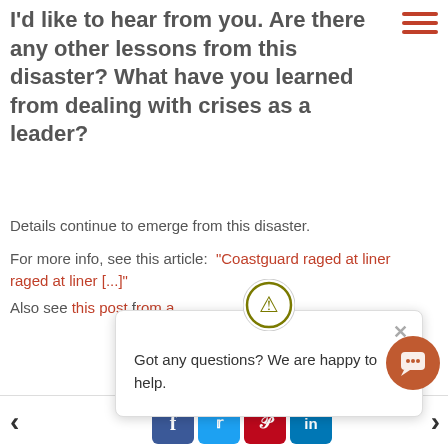I'd like to hear from you. Are there any other lessons from this disaster? What have you learned from dealing with crises as a leader?
Details continue to emerge from this disaster.
For more info, see this article: "Coastguard raged at liner [...]"  Also see this post f[...] from a[...]
[Figure (screenshot): Chat popup overlay with icon and text: 'Got any questions? We are happy to help.' with close button]
[Figure (other): Chat bubble button (orange circle) at bottom right, and social sharing icons (Facebook, Twitter, Pinterest, LinkedIn) at bottom, with left and right navigation arrows]